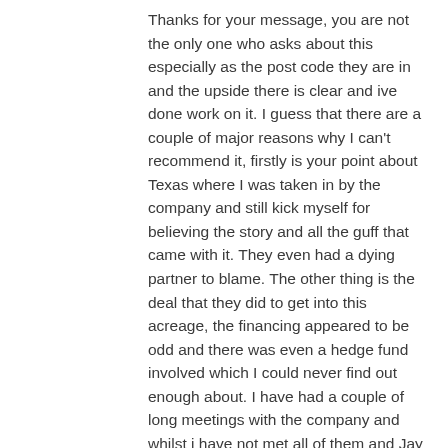Thanks for your message, you are not the only one who asks about this especially as the post code they are in and the upside there is clear and ive done work on it. I guess that there are a couple of major reasons why I can't recommend it, firstly is your point about Texas where I was taken in by the company and still kick myself for believing the story and all the guff that came with it. They even had a dying partner to blame. The other thing is the deal that they did to get into this acreage, the financing appeared to be odd and there was even a hedge fund involved which I could never find out enough about. I have had a couple of long meetings with the company and whilst i have not met all of them and Jay is keeping away from London investors they have worked very hard to make me understand the potential.